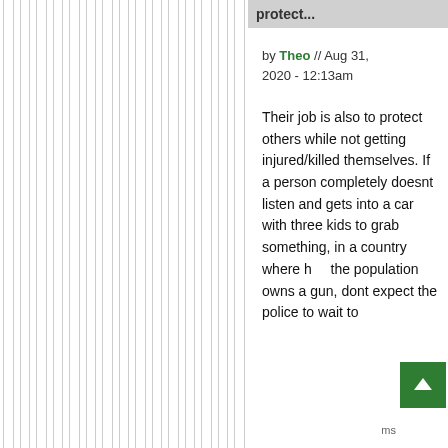protect...
by Theo // Aug 31, 2020 - 12:13am
Their job is also to protect others while not getting injured/killed themselves. If a person completely doesnt listen and gets into a car with three kids to grab something, in a country where half the population owns a gun, dont expect the police to wait to